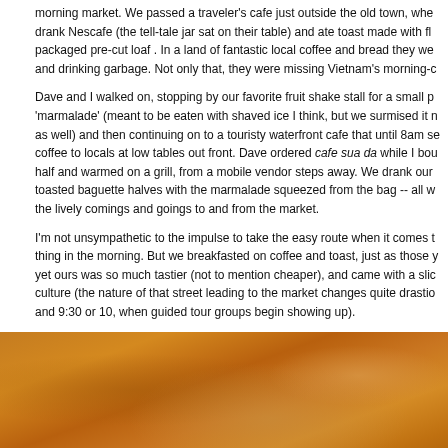morning market. We passed a traveler's cafe just outside the old town, where they drank Nescafe (the tell-tale jar sat on their table) and ate toast made with from a packaged pre-cut loaf . In a land of fantastic local coffee and bread they were eating and drinking garbage. Not only that, they were missing Vietnam's morning-c...
Dave and I walked on, stopping by our favorite fruit shake stall for a small p 'marmalade' (meant to be eaten with shaved ice I think, but we surmised it m as well) and then continuing on to a touristy waterfront cafe that until 8am se coffee to locals at low tables out front. Dave ordered cafe sua da while I bou half and warmed on a grill, from a mobile vendor steps away. We drank our toasted baguette halves with the marmalade squeezed from the bag -- all w the lively comings and goings to and from the market.
I'm not unsympathetic to the impulse to take the easy route when it comes t thing in the morning. But we breakfasted on coffee and toast, just as those y yet ours was so much tastier (not to mention cheaper), and came with a slic culture (the nature of that street leading to the market changes quite drastic and 9:30 or 10, when guided tour groups begin showing up).
[Figure (photo): Close-up photo of a warm golden-brown ceramic or wooden bowl, showing curved rim and surface with warm amber and orange tones]